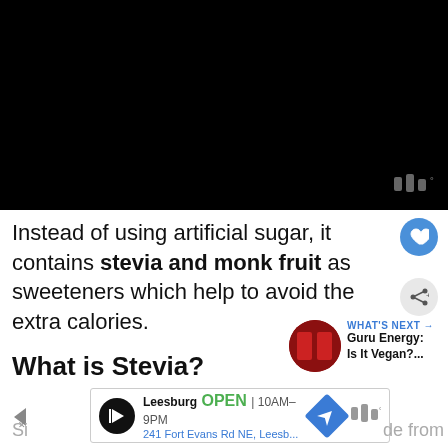[Figure (screenshot): Black video player area with watermark logo in bottom right corner]
Instead of using artificial sugar, it contains stevia and monk fruit as sweeteners which help to avoid the extra calories.
What is Stevia?
[Figure (screenshot): What's Next panel showing Guru Energy: Is It Vegan?... with circular thumbnail]
[Figure (screenshot): Advertisement bar for Leesburg store: OPEN 10AM-9PM, 241 Fort Evans Rd NE, Leesb...]